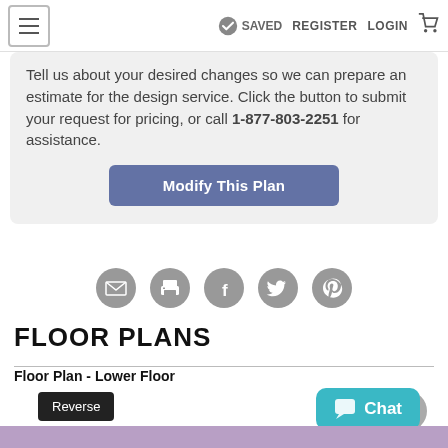SAVED  REGISTER  LOGIN
Tell us about your desired changes so we can prepare an estimate for the design service. Click the button to submit your request for pricing, or call 1-877-803-2251 for assistance.
Modify This Plan
[Figure (infographic): Row of five circular social sharing icons: email, print, Facebook, Twitter, Pinterest]
FLOOR PLANS
Floor Plan - Lower Floor
Reverse
[Figure (other): Gray checkmark circle icon]
Chat